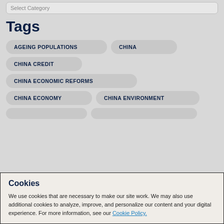Tags
AGEING POPULATIONS
CHINA
CHINA CREDIT
CHINA ECONOMIC REFORMS
CHINA ECONOMY
CHINA ENVIRONMENT
Cookies
We use cookies that are necessary to make our site work. We may also use additional cookies to analyze, improve, and personalize our content and your digital experience. For more information, see our Cookie Policy.